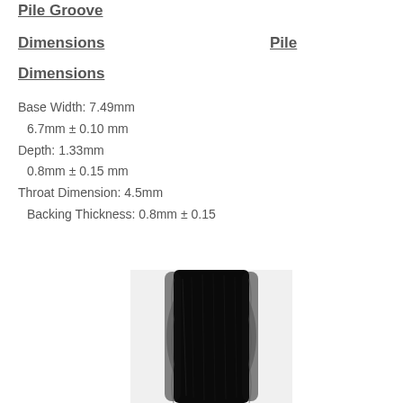Pile Groove
Dimensions
Pile
Dimensions
Base Width: 7.49mm
 6.7mm ± 0.10 mm
Depth: 1.33mm
 0.8mm ± 0.15 mm
Throat Dimension: 4.5mm
 Backing Thickness: 0.8mm ± 0.15
[Figure (photo): Close-up photograph of a pile groove or carpet backing material, showing a dark cylindrical or rectangular cross-section with visible fibrous texture.]